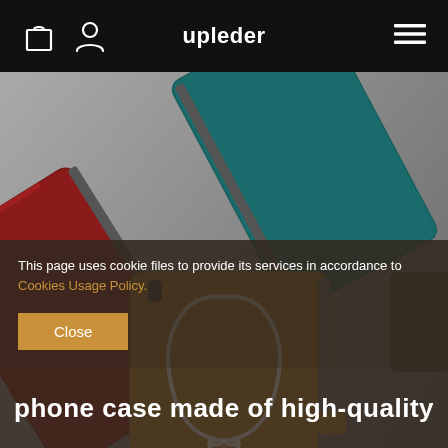upleder
[Figure (photo): Three leather phone wallet cases in different colors — burgundy/red on the left, teal/green on the upper right, and tan/brown in the center. The tan case has a white leather quality badge symbol (hide silhouette) on it. Cases are arranged on a gray surface.]
This page uses cookie files to provide its services in accordance to Cookies Usage Policy.
Close
phone case made of high-quality